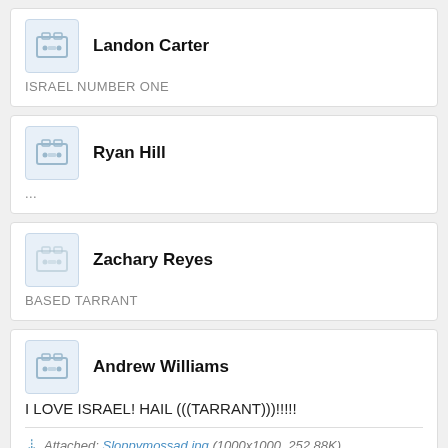Landon Carter
ISRAEL NUMBER ONE
Ryan Hill
...
Zachary Reyes
BASED TARRANT
Andrew Williams
I LOVE ISRAEL! HAIL (((TARRANT)))!!!!!
Attached: Sloppymossad.jpg (1000x1000, 252.88K)